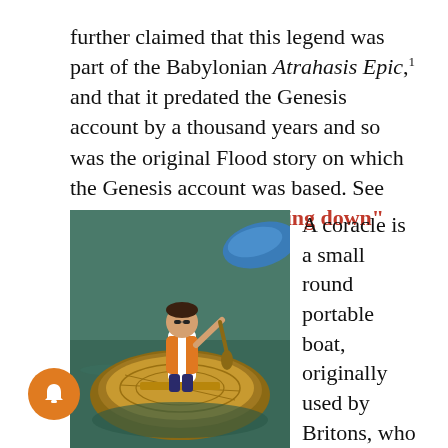further claimed that this legend was part of the Babylonian Atrahasis Epic,¹ and that it predated the Genesis account by a thousand years and so was the original Flood story on which the Genesis account was based. See our 2010 article "Watering down" the Genesis Flood.
[Figure (photo): A child sitting in a round coracle boat on water, wearing an orange life jacket, with a blue kayak visible in the background.]
A coracle is basically a lidless basket, and is obviously not a foul-weather craft nor ocean-safe. (Wikipedia.org)
A coracle is a small round portable boat, originally used by Britons, who made them from a horse or bullock hide, which limited their size. They are still used today (apart from for fun) by salmon fishermen on Welsh and Scottish lakes and